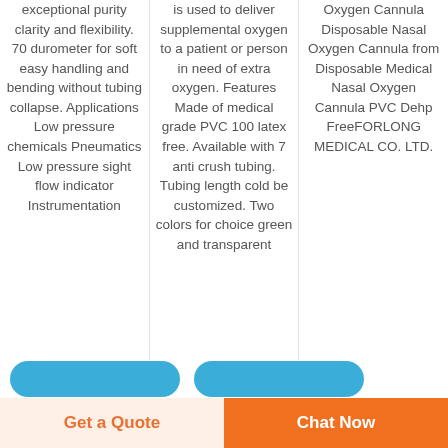exceptional purity clarity and flexibility. 70 durometer for soft easy handling and bending without tubing collapse. Applications Low pressure chemicals Pneumatics Low pressure sight flow indicator Instrumentation
is used to deliver supplemental oxygen to a patient or person in need of extra oxygen. Features Made of medical grade PVC 100 latex free. Available with 7 anti crush tubing. Tubing length cold be customized. Two colors for choice green and transparent
Oxygen Cannula Disposable Nasal Oxygen Cannula from Disposable Medical Nasal Oxygen Cannula PVC Dehp FreeFORLONG MEDICAL CO. LTD.
[Figure (other): Two teal/blue rounded rectangle buttons at bottom of product listing]
Get a Quote
Chat Now